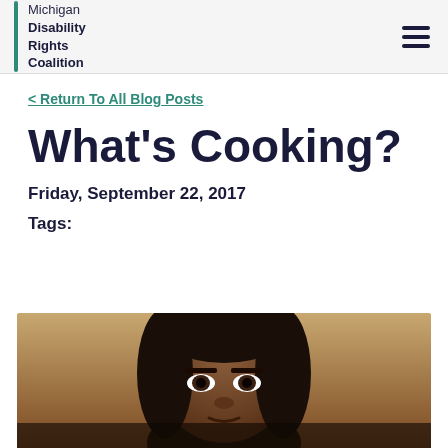Michigan Disability Rights Coalition
< Return To All Blog Posts
What's Cooking?
Friday, September 22, 2017
Tags:
[Figure (photo): Close-up photo of a Black woman with long dark hair, eyes visible, warm background tones]